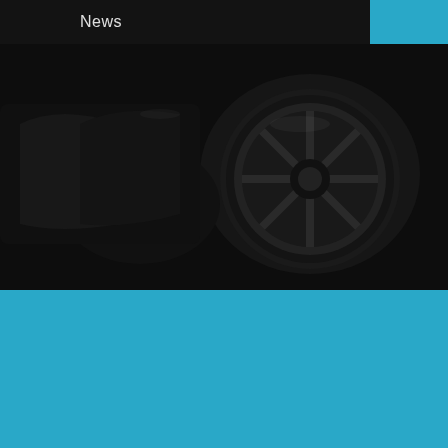News
[Figure (photo): Dark automotive photograph showing a car wheel/rim and interior details against a black background]
June 21, 2018
Frank Torre